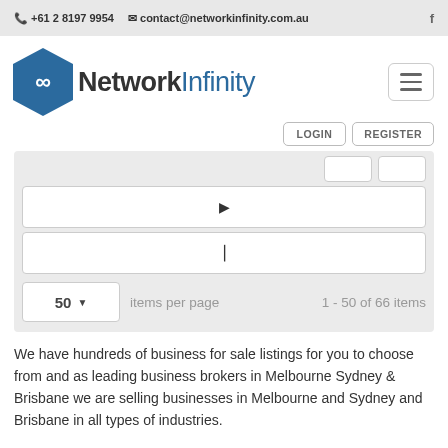+61 2 8197 9954   contact@networkinfinity.com.au
[Figure (logo): Network Infinity logo with hexagon icon and company name]
LOGIN   REGISTER
▶
▶|
50 ▼ items per page
1 - 50 of 66 items
We have hundreds of business for sale listings for you to choose from and as leading business brokers in Melbourne Sydney & Brisbane we are selling businesses in Melbourne and Sydney and Brisbane in all types of industries.